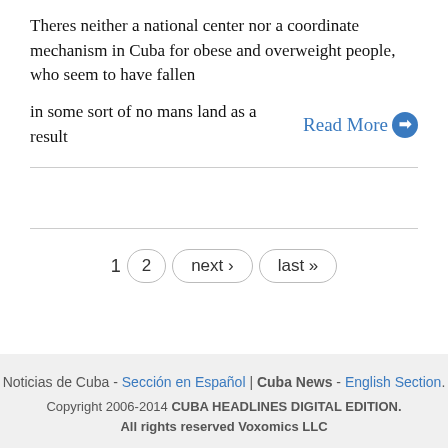Theres neither a national center nor a coordinate mechanism in Cuba for obese and overweight people, who seem to have fallen in some sort of no mans land as a result   Read More ➔
1  2  next >  last »
Noticias de Cuba - Sección en Español | Cuba News - English Section.
Copyright 2006-2014 CUBA HEADLINES DIGITAL EDITION. All rights reserved Voxomics LLC